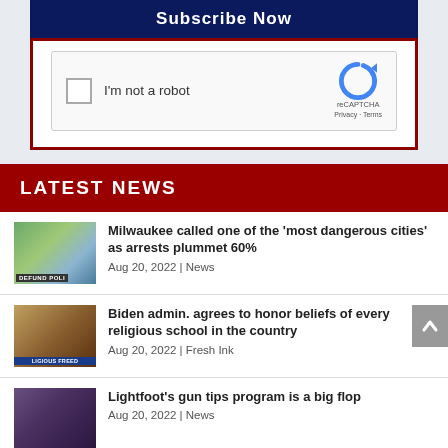Subscribe Now
[Figure (screenshot): reCAPTCHA widget with checkbox labeled 'I'm not a robot' and reCAPTCHA logo with Privacy and Terms links]
LATEST NEWS
Milwaukee called one of the 'most dangerous cities' as arrests plummet 60% | Aug 20, 2022 | News
Biden admin. agrees to honor beliefs of every religious school in the country | Aug 20, 2022 | Fresh Ink
Lightfoot's gun tips program is a big flop | Aug 20, 2022 | News